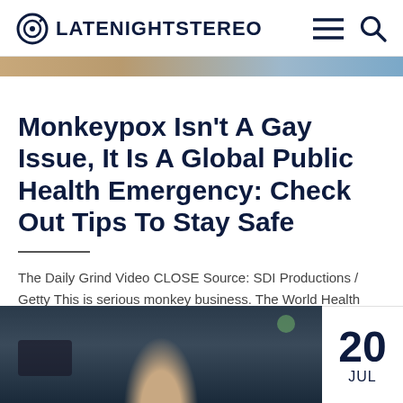LATENIGHTSTEREO
[Figure (photo): Partial image strip showing a scene at top of article]
Monkeypox Isn't A Gay Issue, It Is A Global Public Health Emergency: Check Out Tips To Stay Safe
The Daily Grind Video CLOSE Source: SDI Productions / Getty This is serious monkey business. The World Health Organization
[Figure (photo): Photograph of a bald man outdoors in a dark jacket, bottom portion of the page]
20 JUL